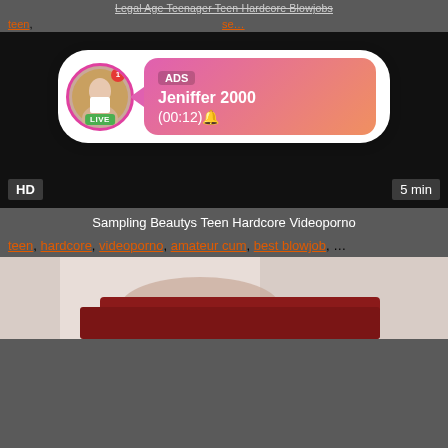Legal Age Teenager Teen Hardcore Blowjobs
teen, ... se...
[Figure (other): Ad overlay with avatar showing LIVE badge, notification dot, ADS label, name Jeniffer 2000, time (00:12)]
[Figure (other): Dark video player area with HD badge bottom-left and 5 min duration bottom-right]
Sampling Beautys Teen Hardcore Videoporno
teen, hardcore, videoporno, amateur cum, best blowjob, ...
[Figure (photo): Partial thumbnail of person in red clothing]